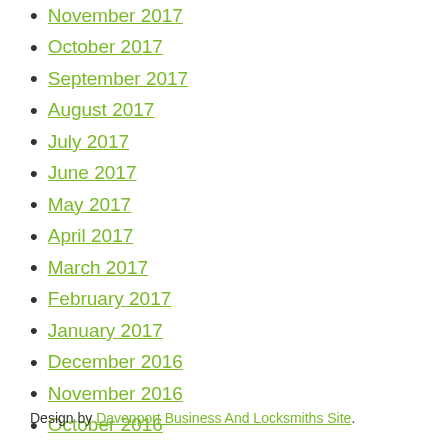November 2017
October 2017
September 2017
August 2017
July 2017
June 2017
May 2017
April 2017
March 2017
February 2017
January 2017
December 2016
November 2016
October 2016
September 2016
August 2016
July 2016
June 2016
May 2016
Design by Davenport Business And Locksmiths Site.